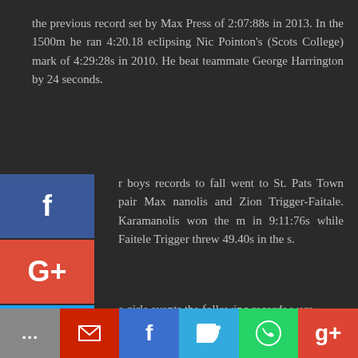the previous record set by Max Press of 2:07:88s in 2013. In the 1500m he ran 4:20.18 eclipsing Nic Pointon's (Scots College) mark of 4:29:28s in 2010. He beat teammate George Harrington by 24 seconds.
r boys records to fall went to St. Pats Town pair Max nanolis and Zion Trigger-Faitale. Karamanolis won the m in 9:11:76s while Faitele Trigger threw 49.40s in the s.
e girls events the following records were broken:
Hegan (Wellington Girls' College) - Junior 800m
Hunt (Wellington East Girls) - Intermediate 1500m
Libby Leikis (Wellington Girls) - AWD 100m
ia Mafi (Upper Hut College) - Intermediate shot put